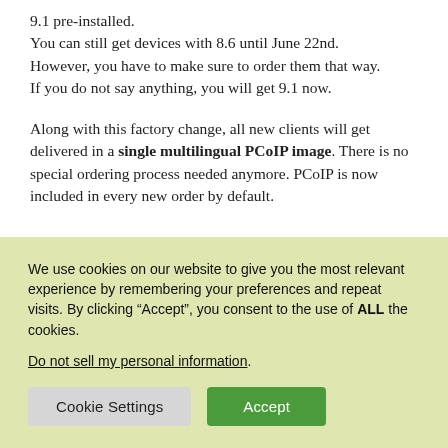9.1 pre-installed. You can still get devices with 8.6 until June 22nd. However, you have to make sure to order them that way. If you do not say anything, you will get 9.1 now.
Along with this factory change, all new clients will get delivered in a single multilingual PCoIP image. There is no special ordering process needed anymore. PCoIP is now included in every new order by default.
We use cookies on our website to give you the most relevant experience by remembering your preferences and repeat visits. By clicking “Accept”, you consent to the use of ALL the cookies.
Do not sell my personal information.